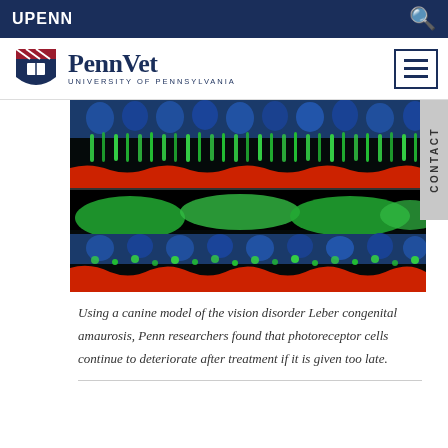UPENN
[Figure (logo): PennVet University of Pennsylvania logo with shield emblem]
[Figure (photo): Fluorescence microscopy images of canine retinal photoreceptor cells showing blue, green, and red channels. Two panels: top showing healthy/treated cells with organized layers, bottom showing deteriorated cells with disorganized structure.]
Using a canine model of the vision disorder Leber congenital amaurosis, Penn researchers found that photoreceptor cells continue to deteriorate after treatment if it is given too late.